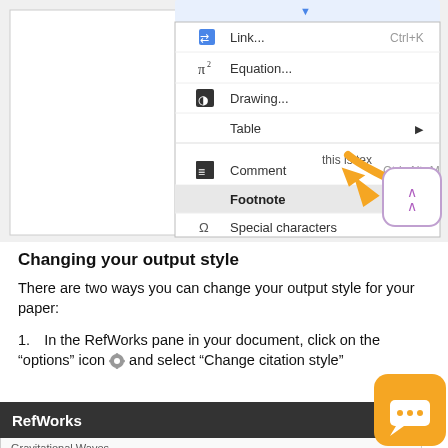[Figure (screenshot): Screenshot of a Google Docs insert menu showing options: Link (Ctrl+K), Equation with pi symbol, Drawing, Table with arrow, Comment (Ctrl+Alt+M), Footnote highlighted in gray (Ctrl+Alt+F), Special characters. An orange arrow points from document text 'this is tex' toward the Footnote menu item. A purple rounded square button with double up-chevron appears at the right.]
Changing your output style
There are two ways you can change your output style for your paper:
In the RefWorks pane in your document, click on the “options” icon ⚙ and select “Change citation style”
[Figure (screenshot): Bottom of page showing a dark gray RefWorks panel header bar with title 'RefWorks' and an X close button. Below that partially visible text 'Gravitational Waves'. A yellow/orange chat bubble button appears at the bottom right corner.]